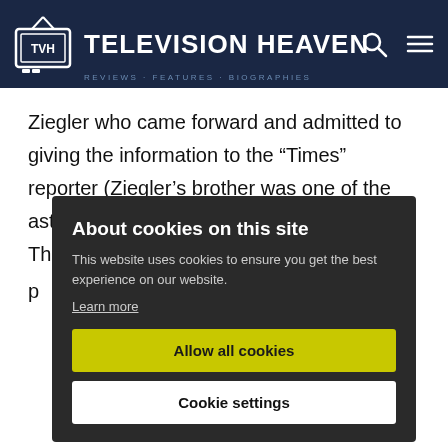TELEVISION HEAVEN
Ziegler who came forward and admitted to giving the information to the “Times” reporter (Ziegler’s brother was one of the astronauts who died on the space station). The p... d... M... f... s... h... s...
About cookies on this site
This website uses cookies to ensure you get the best experience on our website.
Learn more
Allow all cookies
Cookie settings
real-life journalist Forrest Sawyer acted as moderator.
Vinick and Santos squared off without scripts, responding